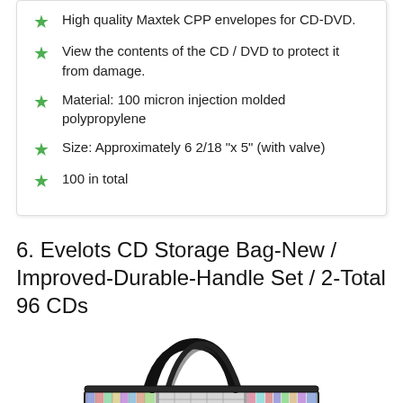High quality Maxtek CPP envelopes for CD-DVD.
View the contents of the CD / DVD to protect it from damage.
Material: 100 micron injection molded polypropylene
Size: Approximately 6 2/18 "x 5" (with valve)
100 in total
6. Evelots CD Storage Bag-New / Improved-Durable-Handle Set / 2-Total 96 CDs
[Figure (photo): A CD/DVD storage bag with black handles and clear mesh sides showing CDs stored inside.]